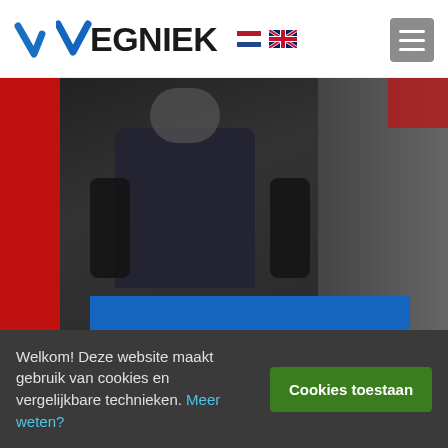[Figure (logo): Vegniek logo with blue checkmark-style V and dark EGNIEK text, alongside a Dutch flag icon, UK flag icon, and a grey hamburger menu button]
[Figure (photo): A mechanic in dark blue overalls working near red and dark industrial equipment. Blue info card overlaid showing name and title.]
JAAP LAAN
Monteur
Welkom! Deze website maakt gebruik van cookies en vergelijkbare technieken. Meer weten?
Cookies toestaan